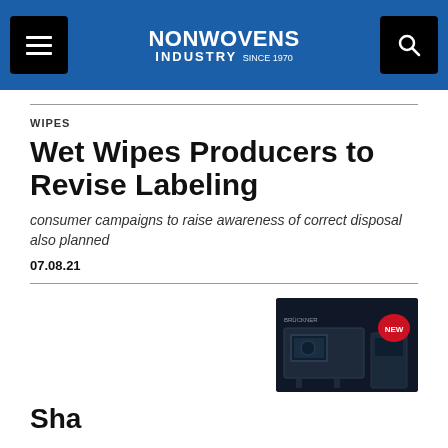NONWOVENS INDUSTRY
WIPES
Wet Wipes Producers to Revise Labeling
consumer campaigns to raise awareness of correct disposal also planned
07.08.21
[Figure (photo): Advertisement image showing industrial machinery with red 'NEW' badge label on dark background]
Cha...